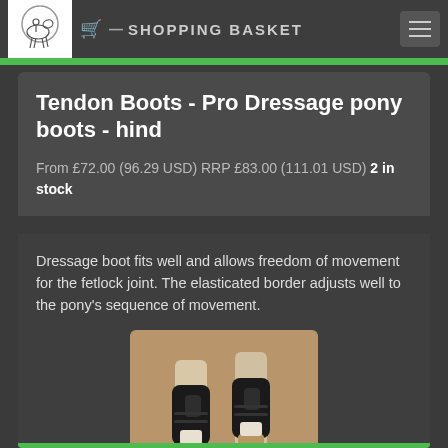SHOPPING BASKET
Tendon Boots - Pro Dressage pony boots - hind
From £72.00 (96.29 USD) RRP £83.00 (111.01 USD) 2 in stock
Dressage boot fits well and allows freedom of movement for the fetlock joint. The elasticated border adjusts well to the pony's sequence of movement.
[Figure (photo): Photo of black dressage tendon boots on horse hind legs on sandy ground]